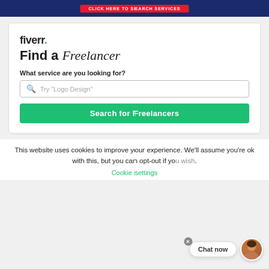[Figure (screenshot): Top dark blue banner with red button]
[Figure (screenshot): Fiverr widget card: logo, Find a Freelancer heading, search box, and Search for Freelancers green button]
This website uses cookies to improve your experience. We'll assume you're ok with this, but you can opt-out if you wish.
Cookie settings
Chat now